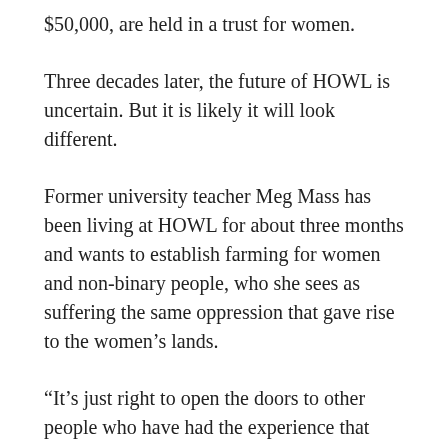$50,000, are held in a trust for women.
Three decades later, the future of HOWL is uncertain. But it is likely it will look different.
Former university teacher Meg Mass has been living at HOWL for about three months and wants to establish farming for women and non-binary people, who she sees as suffering the same oppression that gave rise to the women’s lands.
“It’s just right to open the doors to other people who have had the experience that women established these communities to work against,” said Mass, 47.
“These lands that were originally lesbian separatist